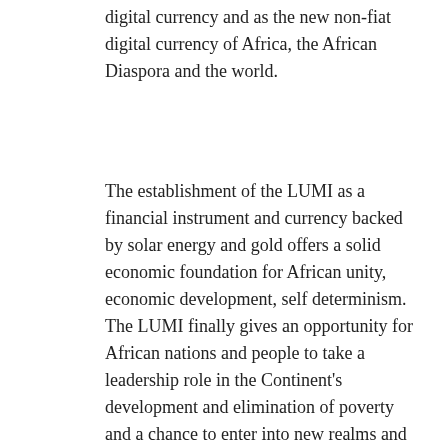digital currency and as the new non-fiat digital currency of Africa, the African Diaspora and the world.
The establishment of the LUMI as a financial instrument and currency backed by solar energy and gold offers a solid economic foundation for African unity, economic development, self determinism. The LUMI finally gives an opportunity for African nations and people to take a leadership role in the Continent's development and elimination of poverty and a chance to enter into new realms and dimensions to build a New World Order for Africa and Africans, based on having a solid economic base in the mineral and natural resources of the Continent.
The LUMI will be the foundation on which to build national industries based on the wealth of Africa's indigenous mineral resources, population, scientific innovations and inter-connected international links, and will strengthen the inbred determination for survival that kept Africa alive through 400 years of